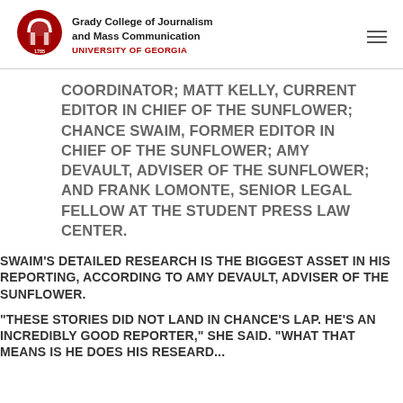Grady College of Journalism and Mass Communication UNIVERSITY OF GEORGIA
COORDINATOR; MATT KELLY, CURRENT EDITOR IN CHIEF OF THE SUNFLOWER; CHANCE SWAIM, FORMER EDITOR IN CHIEF OF THE SUNFLOWER; AMY DEVAULT, ADVISER OF THE SUNFLOWER; AND FRANK LOMONTE, SENIOR LEGAL FELLOW AT THE STUDENT PRESS LAW CENTER.
SWAIM'S DETAILED RESEARCH IS THE BIGGEST ASSET IN HIS REPORTING, ACCORDING TO AMY DEVAULT, ADVISER OF THE SUNFLOWER.
"THESE STORIES DID NOT LAND IN CHANCE'S LAP. HE'S AN INCREDIBLY GOOD REPORTER," SHE SAID. "WHAT THAT MEANS IS HE DOES HIS RESEARCH...